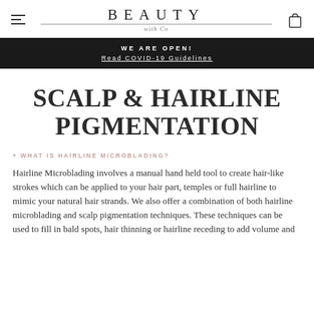BEAUTY with Co
WE ARE OPEN!
Read COVID-19 Guidelines
SCALP & HAIRLINE PIGMENTATION
+ WHAT IS HAIRLINE MICROBLADING?
Hairline Microblading involves a manual hand held tool to create hair-like strokes which can be applied to your hair part, temples or full hairline to mimic your natural hair strands. We also offer a combination of both hairline microblading and scalp pigmentation techniques. These techniques can be used to fill in bald spots, hair thinning or hairline receding to add volume and density for immediate results. This treatment is effective for both